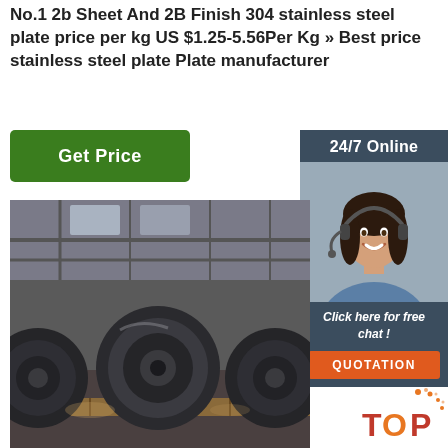No.1 2b Sheet And 2B Finish 304 stainless steel plate price per kg US $1.25-5.56Per Kg » Best price stainless steel plate Plate manufacturer
[Figure (other): Green 'Get Price' button]
[Figure (other): Sidebar with '24/7 Online' header, photo of female customer service representative with headset, 'Click here for free chat!' text, and orange 'QUOTATION' button]
[Figure (photo): Industrial factory interior showing large rolls of stainless steel coils stacked on wooden pallets, with warehouse structure visible in background]
[Figure (other): Orange/red 'TOP' badge with decorative dots in bottom right corner]